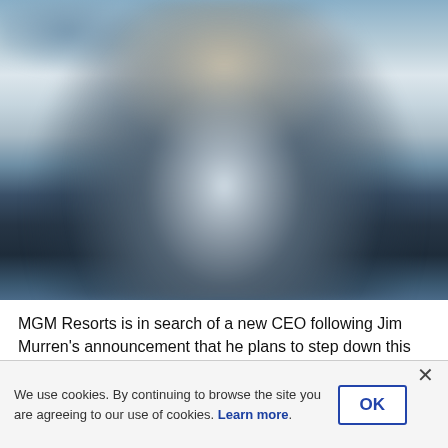[Figure (photo): Blurred/out-of-focus photo of a man in a dark suit with a light blue shirt, photographed in front of a blue and white background. The image is intentionally blurred for privacy.]
MGM Resorts is in search of a new CEO following Jim Murren's announcement that he plans to step down this year. (Image: Billie Weiss/Getty)
We use cookies. By continuing to browse the site you are agreeing to our use of cookies. Learn more.